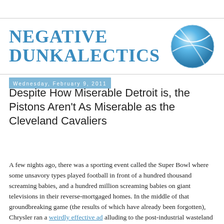NEGATIVE DUNKALECTICS
[Figure (illustration): Blue basketball globe/sphere logo with white curved lines on a light blue gradient background]
Wednesday, February 9, 2011
Despite How Miserable Detroit is, the Pistons Aren't As Miserable as the Cleveland Cavaliers
A few nights ago, there was a sporting event called the Super Bowl where some unsavory types played football in front of a hundred thousand screaming babies, and a hundred million screaming babies on giant televisions in their reverse-mortgaged homes. In the middle of that groundbreaking game (the results of which have already been forgotten), Chrysler ran a weirdly effective ad alluding to the post-industrial wasteland that their home city has